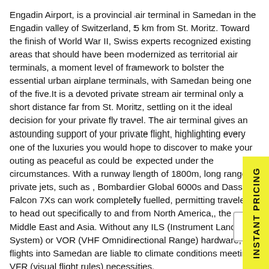Engadin Airport, is a provincial air terminal in Samedan in the Engadin valley of Switzerland, 5 km from St. Moritz. Toward the finish of World War II, Swiss experts recognized existing areas that should have been modernized as territorial air terminals, a moment level of framework to bolster the essential urban airplane terminals, with Samedan being one of the five.It is a devoted private stream air terminal only a short distance far from St. Moritz, settling on it the ideal decision for your private fly travel. The air terminal gives an astounding support of your private flight, highlighting every one of the luxuries you would hope to discover to make your outing as peaceful as could be expected under the circumstances. With a runway length of 1800m, long range private jets, such as , Bombardier Global 6000s and Dassault Falcon 7Xs can work completely fuelled, permitting travelers to head out specifically to and from North America,, the Middle East and Asia. Without any ILS (Instrument Landing System) or VOR (VHF Omnidirectional Range) hardware, flights into Samedan are liable to climate conditions meeting VFR (visual flight rules) necessities.
In any case, this air terminal gets extremely occupied, especially in the ski season, so reach your Jets4you adviser well ahead of time to secure your take-off and landing slots.